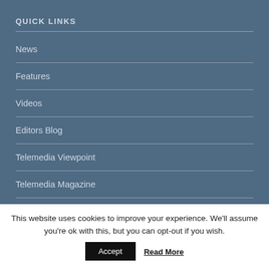QUICK LINKS
News
Features
Videos
Editors Blog
Telemedia Viewpoint
Telemedia Magazine
World Telemedia Show
This website uses cookies to improve your experience. We'll assume you're ok with this, but you can opt-out if you wish.
Accept
Read More